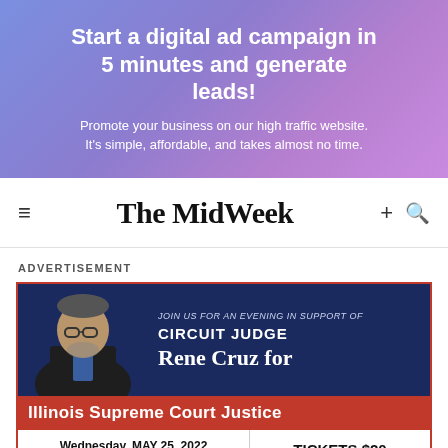Start a digital ad campaign in 5 minutes and generate leads!
Promote your business on our high traffic website. It's simple, affordable, and takes almost no time.
The MidWeek
ADVERTISEMENT
[Figure (infographic): Political advertisement for Circuit Judge Rene Cruz for Illinois Supreme Court Justice. Event: Wednesday, MAY 25, 2022, 5:30 PM to 8:00 PM. Tickets $20.]